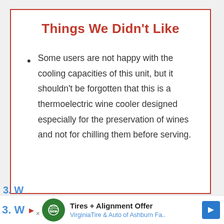Things We Didn't Like
Some users are not happy with the cooling capacities of this unit, but it shouldn't be forgotten that this is a thermoelectric wine cooler designed especially for the preservation of wines and not for chilling them before serving.
3. W
The